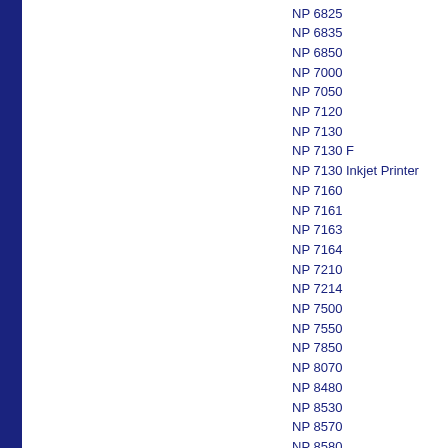NP 6825
NP 6835
NP 6850
NP 7000
NP 7050
NP 7120
NP 7130
NP 7130 F
NP 7130 Inkjet Printer
NP 7160
NP 7161
NP 7163
NP 7164
NP 7210
NP 7214
NP 7500
NP 7550
NP 7850
NP 8070
NP 8480
NP 8530
NP 8570
NP 8580
NP 8582
NP C-100